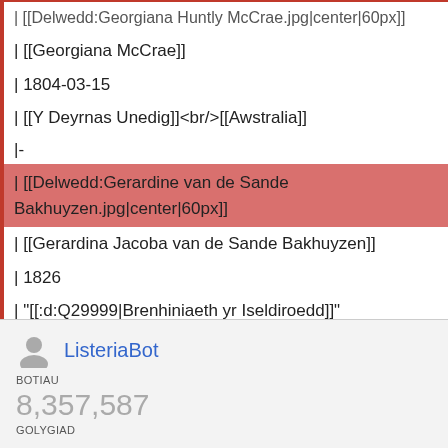| [[Delwedd:Georgiana Huntly McCrae.jpg|center|60px]]
| [[Georgiana McCrae]]
| 1804-03-15
| [[Y Deyrnas Unedig]]<br/>[[Awstralia]]
|-
| [[Delwedd:Gerardine van de Sande Bakhuyzen.jpg|center|60px]]
| [[Gerardina Jacoba van de Sande Bakhuyzen]]
| 1826
| "[[:d:Q29999|Brenhiniaeth yr Iseldiroedd]]"
|-
ListeriaBot
BOTIAU
8,357,587
GOLYGIAD